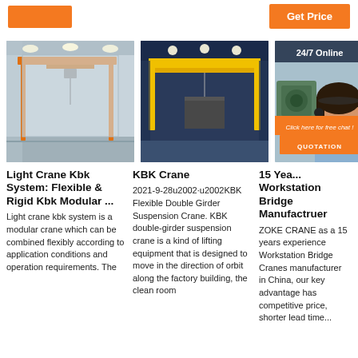[Figure (screenshot): Orange button top left (Get Price area)]
[Figure (screenshot): Orange 'Get Price' button top right]
[Figure (photo): Light crane KBK system in a warehouse/factory with orange overhead crane structure]
[Figure (photo): KBK double girder suspension crane yellow, inside industrial building]
[Figure (photo): 15 Years Workstation Bridge crane manufacturer - woman with headset, 24/7 Online chat widget with industrial motor]
Light Crane Kbk System: Flexible & Rigid Kbk Modular ...
Light crane kbk system is a modular crane which can be combined flexibly according to application conditions and operation requirements. The
KBK Crane
2021-9-28u2002·u2002KBK Flexible Double Girder Suspension Crane. KBK double-girder suspension crane is a kind of lifting equipment that is designed to move in the direction of orbit along the factory building, the clean room
15 Yea... Workstation Bridge Manufactruer
ZOKE CRANE as a 15 years experience Workstation Bridge Cranes manufacturer in China, our key advantage has competitive price, shorter lead time...